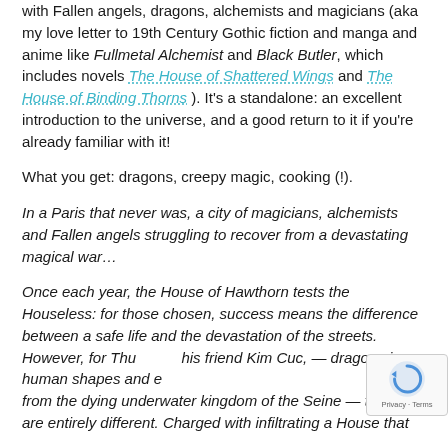with Fallen angels, dragons, alchemists and magicians (aka my love letter to 19th Century Gothic fiction and manga and anime like Fullmetal Alchemist and Black Butler, which includes novels The House of Shattered Wings and The House of Binding Thorns ). It's a standalone: an excellent introduction to the universe, and a good return to it if you're already familiar with it!
What you get: dragons, creepy magic, cooking (!).
In a Paris that never was, a city of magicians, alchemists and Fallen angels struggling to recover from a devastating magical war…
Once each year, the House of Hawthorn tests the Houseless: for those chosen, success means the difference between a safe life and the devastation of the streets. However, for Thu and his friend Kim Cuc, — dragons in human shapes and exiles from the dying underwater kingdom of the Seine — the stakes are entirely different. Charged with infiltrating a House that
[Figure (other): reCAPTCHA badge in bottom-right corner with blue circular arrow icon and 'Privacy - Terms' text]